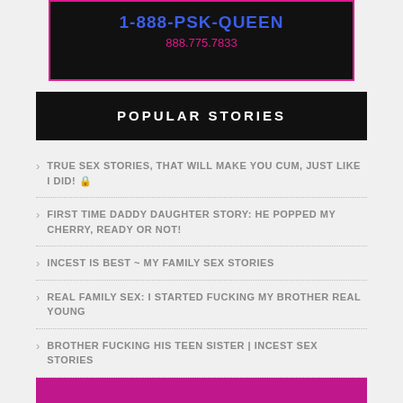[Figure (other): Advertisement banner with phone number 1-888-PSK-QUEEN and 888.775.7833 on black background with pink border]
POPULAR STORIES
TRUE SEX STORIES, THAT WILL MAKE YOU CUM, JUST LIKE I DID! 🔒
FIRST TIME DADDY DAUGHTER STORY: HE POPPED MY CHERRY, READY OR NOT!
INCEST IS BEST ~ MY FAMILY SEX STORIES
REAL FAMILY SEX: I STARTED FUCKING MY BROTHER REAL YOUNG
BROTHER FUCKING HIS TEEN SISTER | INCEST SEX STORIES